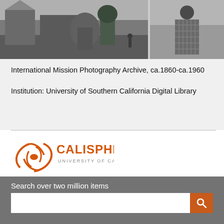[Figure (photo): Two black and white historical photographs: left shows a village scene with buildings and a person, right shows a person wrapped in a plaid blanket]
International Mission Photography Archive, ca.1860-ca.1960
Institution: University of Southern California Digital Library
[Figure (logo): Calisphere - University of California logo with orange circular swirl icon]
Search over two million items
Home
About Calisphere